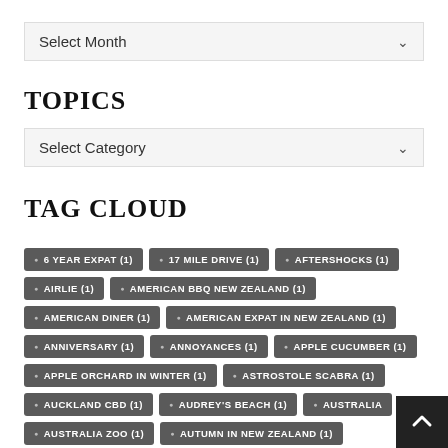Select Month
TOPICS
Select Category
TAG CLOUD
6 YEAR EXPAT (1)
17 MILE DRIVE (1)
AFTERSHOCKS (1)
AIRLIE (1)
AMERICAN BBQ NEW ZEALAND (1)
AMERICAN DINER (1)
AMERICAN EXPAT IN NEW ZEALAND (1)
ANNIVERSARY (1)
ANNOYANCES (1)
APPLE CUCUMBER (1)
APPLE ORCHARD IN WINTER (1)
ASTROSTOLE SCABRA (1)
AUCKLAND CBD (1)
AUDREY'S BEACH (1)
AUSTRALIA
AUSTRALIA ZOO (1)
AUTUMN IN NEW ZEALAND (1)